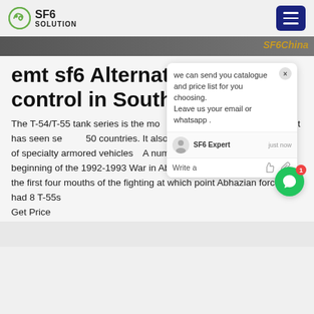SF6 SOLUTION
[Figure (screenshot): Website screenshot banner with dark background and SF6China text]
emt sf6 Alternatives control in South Os
The T-54/T-55 tank series is the mo d tank in the world and it has seen se 50 countries. It also served as the f e variety of specialty armored vehicles A number of T-55s in service at the beginning of the 1992-1993 War in Abkhazia, all of which were lost in the first four mouths of the fighting at which point Abhazian forces had 8 T-55s
Get Price